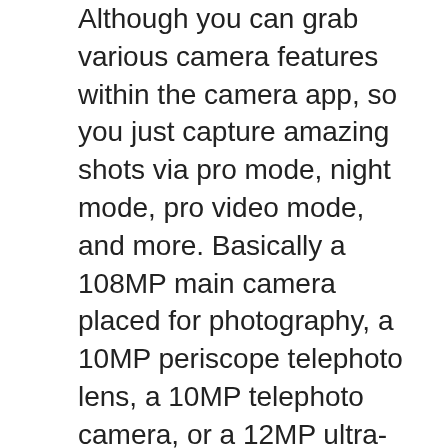Although you can grab various camera features within the camera app, so you just capture amazing shots via pro mode, night mode, pro video mode, and more. Basically a 108MP main camera placed for photography, a 10MP periscope telephoto lens, a 10MP telephoto camera, or a 12MP ultra-wide lens for captures the wider shots. Even the S21 Ultra offers a 40MP selfie camera on the top of the screen.
Suggestion: If you wanted the best camera phone then the S21 Ultra is a really good choice and tons of extra features in the camera. Once you can use this phone then no chance you have to forget.
There Samsung uses the non-removable 5,000mAh battery to run with a charger the whole day. Even, in any case, some users use it for one an half days.